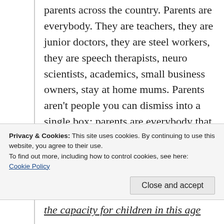parents across the country. Parents are everybody. They are teachers, they are junior doctors, they are steel workers, they are speech therapists, neuro scientists, academics, small business owners, stay at home mums. Parents aren't people you can dismiss into a single box; parents are everybody that you were voted in to serve.
Children as young as 6 are labelling
Privacy & Cookies: This site uses cookies. By continuing to use this website, you agree to their use.
To find out more, including how to control cookies, see here:
Cookie Policy
Close and accept
the capacity for children in this age